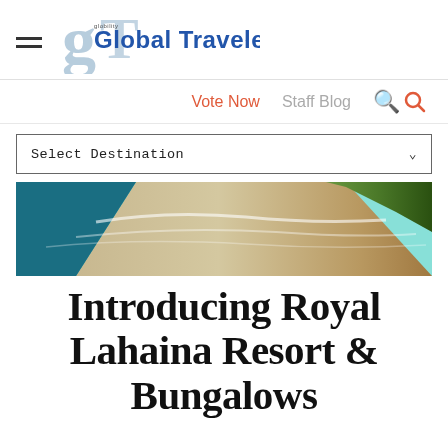Global Traveler
[Figure (logo): Global Traveler magazine logo with stylized GT monogram in light blue and the text 'Global Traveler' in bold blue]
Vote Now   Staff Blog
Select Destination
[Figure (photo): Aerial view of a tropical beach and coastline with turquoise water, sandy shore, and green vegetation]
Introducing Royal Lahaina Resort & Bungalows